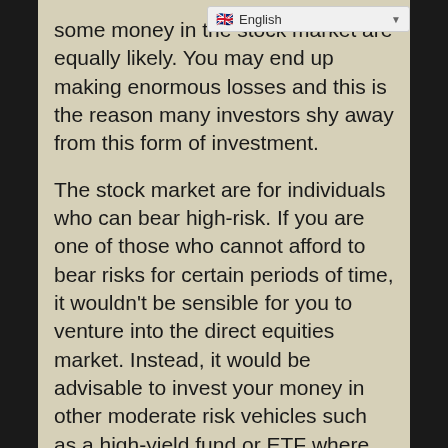some money in the stock market are equally likely. You may end up making enormous losses and this is the reason many investors shy away from this form of investment.
The stock market are for individuals who can bear high-risk. If you are one of those who cannot afford to bear risks for certain periods of time, it wouldn't be sensible for you to venture into the direct equities market. Instead, it would be advisable to invest your money in other moderate risk vehicles such as a high-yield fund or ETF where you you'll know it will be making consistent decent returns.
Another common type of high-risk